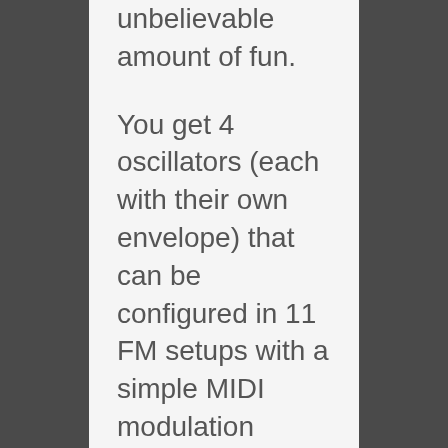unbelievable amount of fun.
You get 4 oscillators (each with their own envelope) that can be configured in 11 FM setups with a simple MIDI modulation matrix. There's a drop-based filter just like in Auto